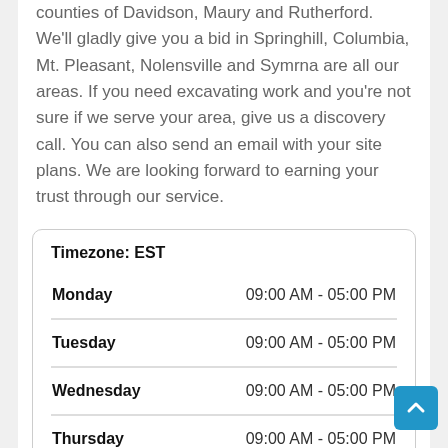counties of Davidson, Maury and Rutherford. We'll gladly give you a bid in Springhill, Columbia, Mt. Pleasant, Nolensville and Symrna are all our areas. If you need excavating work and you're not sure if we serve your area, give us a discovery call. You can also send an email with your site plans. We are looking forward to earning your trust through our service.
| Day | Hours |
| --- | --- |
| Monday | 09:00 AM - 05:00 PM |
| Tuesday | 09:00 AM - 05:00 PM |
| Wednesday | 09:00 AM - 05:00 PM |
| Thursday | 09:00 AM - 05:00 PM |
| Friday | 09:00 AM - 05:00 PM |